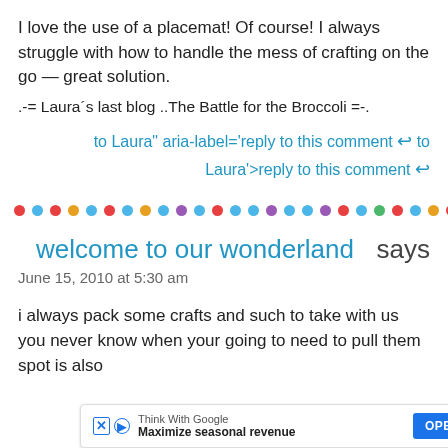I love the use of a placemat! Of course! I always struggle with how to handle the mess of crafting on the go — great solution.
.-= Laura´s last blog ..The Battle for the Broccoli =-.
to Laura" aria-label='reply to this comment ↩ to Laura'>reply to this comment ↩
[Figure (other): Decorative row of multicolored dots divider]
welcome to our wonderland says
June 15, 2010 at 5:30 am
i always pack some crafts and such to take with us you never know when your going to need to pull them out at a boring spot is also